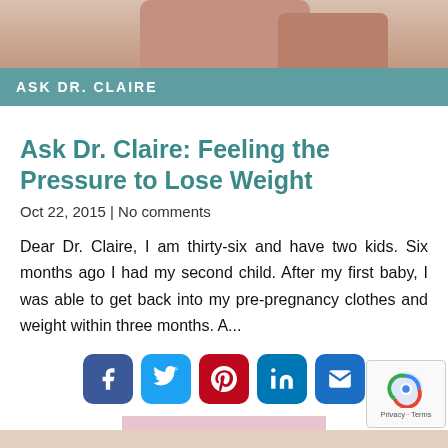[Figure (photo): Top portion of a photo showing skin/body, partially cropped at top of page]
ASK DR. CLAIRE
Ask Dr. Claire: Feeling the Pressure to Lose Weight
Oct 22, 2015 | No comments
Dear Dr. Claire, I am thirty-six and have two kids. Six months ago I had my second child. After my first baby, I was able to get back into my pre-pregnancy clothes and weight within three months. A...
[Figure (infographic): Social sharing buttons: Facebook, Twitter, Pinterest, LinkedIn, Email]
READ MORE